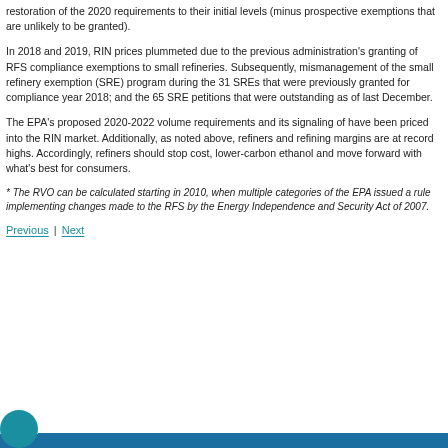restoration of the 2020 requirements to their initial levels (minus prospective exemptions that are unlikely to be granted).
In 2018 and 2019, RIN prices plummeted due to the previous administration's granting of RFS compliance exemptions to small refineries. Subsequently, mismanagement of the small refinery exemption (SRE) program during the 31 SREs that were previously granted for compliance year 2018; and the 65 SRE petitions that were outstanding as of last December.
The EPA's proposed 2020-2022 volume requirements and its signaling of have been priced into the RIN market. Additionally, as noted above, refiners and refining margins are at record highs. Accordingly, refiners should stop cost, lower-carbon ethanol and move forward with what's best for consumers.
* The RVO can be calculated starting in 2010, when multiple categories of the EPA issued a rule implementing changes made to the RFS by the Energy Independence and Security Act of 2007.
Previous | Next